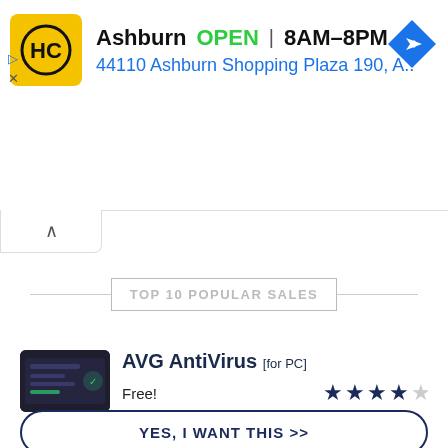[Figure (infographic): Advertisement banner for HC (Hair Club or similar) location in Ashburn showing logo, open status 8AM-8PM, address 44110 Ashburn Shopping Plaza 190 A., and navigation icon]
▷
✕
∧
TOP 10 POPULAR SALES
[Figure (photo): Small thumbnail screenshot of AVG AntiVirus software interface on dark background]
AVG AntiVirus [for PC]
Free!
★★★★☆
YES, I WANT THIS >>